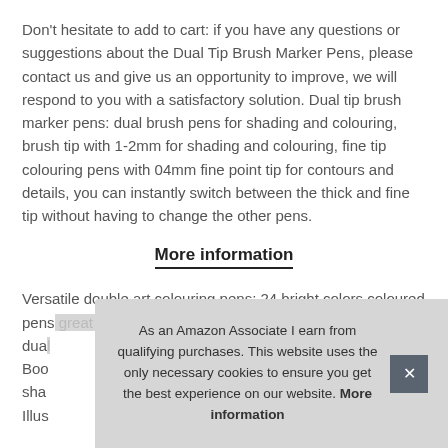Don't hesitate to add to cart: if you have any questions or suggestions about the Dual Tip Brush Marker Pens, please contact us and give us an opportunity to improve, we will respond to you with a satisfactory solution. Dual tip brush marker pens: dual brush pens for shading and colouring, brush tip with 1-2mm for shading and colouring, fine tip colouring pens with 04mm fine point tip for contours and details, you can instantly switch between the thick and fine tip without having to change the other pens.
More information
Versatile double art colouring pens: 24 bright colors coloured pens great for adult colouring book, doodling, and detailing, dual... Boo... sha... Illus...
As an Amazon Associate I earn from qualifying purchases. This website uses the only necessary cookies to ensure you get the best experience on our website. More information